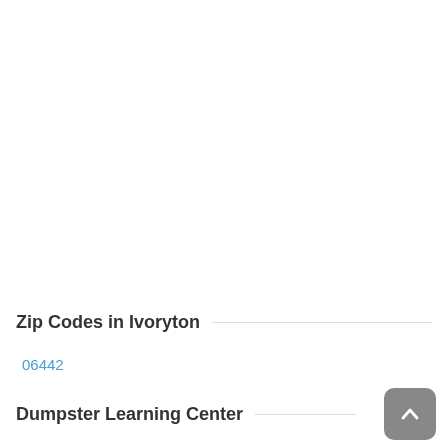Zip Codes in Ivoryton
06442
Dumpster Learning Center